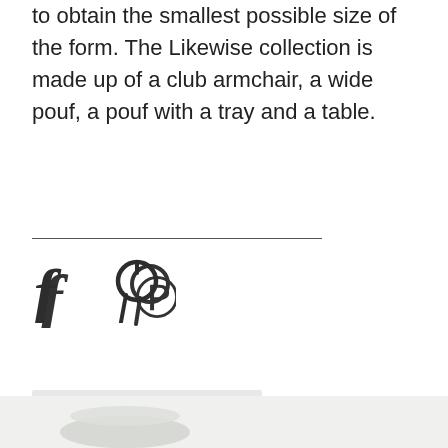to obtain the smallest possible size of the form. The Likewise collection is made up of a club armchair, a wide pouf, a pouf with a tray and a table.
[Figure (infographic): Facebook and Pinterest social media icons (f and P symbols) displayed in dark gray, separated by a horizontal rule above them.]
[Figure (infographic): A product card UI element with a document icon, text 'product card', and a right arrow on a light gray background.]
[Figure (photo): Partial bottom strip showing a light gray/beige background with the top portion of a chair visible at the bottom of the page.]